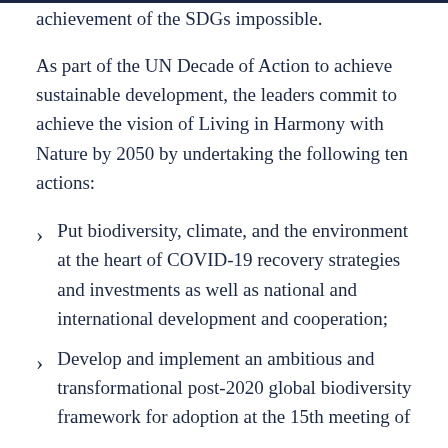achievement of the SDGs impossible.
As part of the UN Decade of Action to achieve sustainable development, the leaders commit to achieve the vision of Living in Harmony with Nature by 2050 by undertaking the following ten actions:
Put biodiversity, climate, and the environment at the heart of COVID-19 recovery strategies and investments as well as national and international development and cooperation;
Develop and implement an ambitious and transformational post-2020 global biodiversity framework for adoption at the 15th meeting of